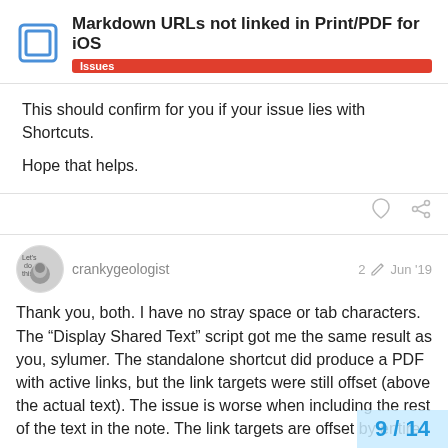Markdown URLs not linked in Print/PDF for iOS — Issues
This should confirm for you if your issue lies with Shortcuts.
Hope that helps.
crankygeologist  2  Jun '19
Thank you, both. I have no stray space or tab characters. The “Display Shared Text” script got me the same result as you, sylumer. The standalone shortcut did produce a PDF with active links, but the link targets were still offset (above the actual text). The issue is worse when including the rest of the text in the note. The link targets are offset by entire p
9 / 14